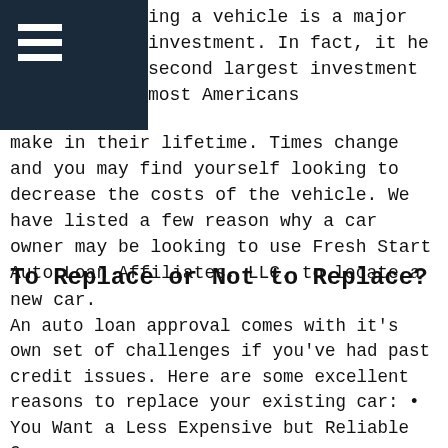ing a vehicle is a major investment. In fact, it he second largest investment most Americans make in their lifetime. Times change and you may find yourself looking to decrease the costs of the vehicle. We have listed a few reason why a car owner may be looking to use Fresh Start Auto Loan Affiliates, LLC. to locate a new car.
To Replace or Not to Replace?
An auto loan approval comes with it's own set of challenges if you've had past credit issues. Here are some excellent reasons to replace your existing car: • You Want a Less Expensive but Reliable Car
• Your Present Car Has Too Many Miles
• Your Vehicle Is Not in Good Condition or Is Unreliable
• Your Present Car Payment & Loan Balance Are Too High
• If You are a Prior Bankruptcy Filer, You Want to Surrender (give your car back to the existing lender). If Your Bankruptcy Attorney Advised You